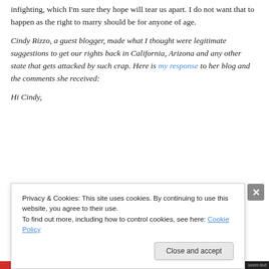infighting, which I'm sure they hope will tear us apart. I do not want that to happen as the right to marry should be for anyone of age.
Cindy Rizzo, a guest blogger, made what I thought were legitimate suggestions to get our rights back in California, Arizona and any other state that gets attacked by such crap. Here is my response to her blog and the comments she received:
Hi Cindy,
Privacy & Cookies: This site uses cookies. By continuing to use this website, you agree to their use.
To find out more, including how to control cookies, see here: Cookie Policy